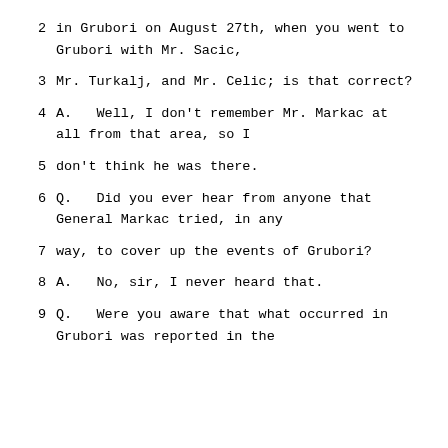2      in Grubori on August 27th, when you went to Grubori with Mr. Sacic,
3      Mr. Turkalj, and Mr. Celic; is that correct?
4      A.   Well, I don't remember Mr. Markac at all from that area, so I
5      don't think he was there.
6      Q.   Did you ever hear from anyone that General Markac tried, in any
7      way, to cover up the events of Grubori?
8      A.   No, sir, I never heard that.
9      Q.   Were you aware that what occurred in Grubori was reported in the